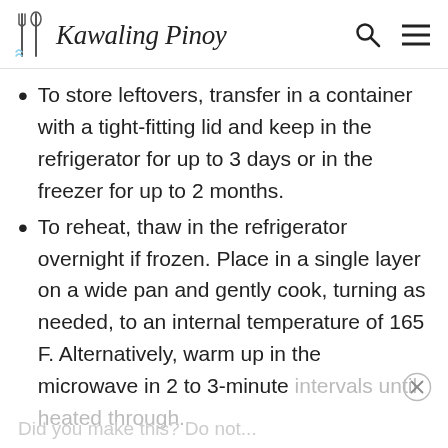Kawaling Pinoy
To store leftovers, transfer in a container with a tight-fitting lid and keep in the refrigerator for up to 3 days or in the freezer for up to 2 months.
To reheat, thaw in the refrigerator overnight if frozen. Place in a single layer on a wide pan and gently cook, turning as needed, to an internal temperature of 165 F. Alternatively, warm up in the microwave in 2 to 3-minute intervals until heated through.